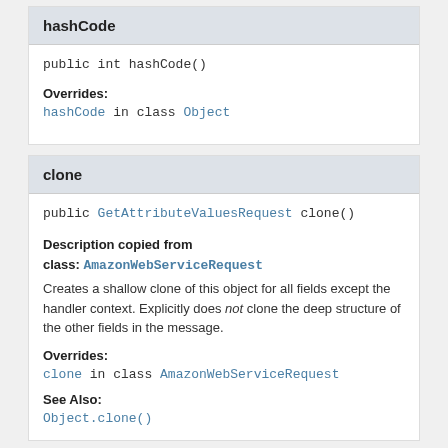hashCode
public int hashCode()
Overrides:
hashCode in class Object
clone
public GetAttributeValuesRequest clone()
Description copied from class: AmazonWebServiceRequest
Creates a shallow clone of this object for all fields except the handler context. Explicitly does not clone the deep structure of the other fields in the message.
Overrides:
clone in class AmazonWebServiceRequest
See Also:
Object.clone()